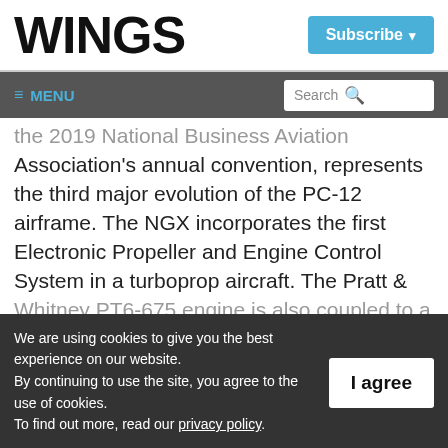WINGS
Subscribe
≡ MENU  Search
the 2019 National Business Aviation Association's annual convention, represents the third major evolution of the PC-12 airframe. The NGX incorporates the first Electronic Propeller and Engine Control System in a turboprop aircraft. The Pratt & Whitney PT6-675 engine is also coupled to a
We are using cookies to give you the best experience on our website.
By continuing to use the site, you agree to the use of cookies.
To find out more, read our privacy policy.
I agree